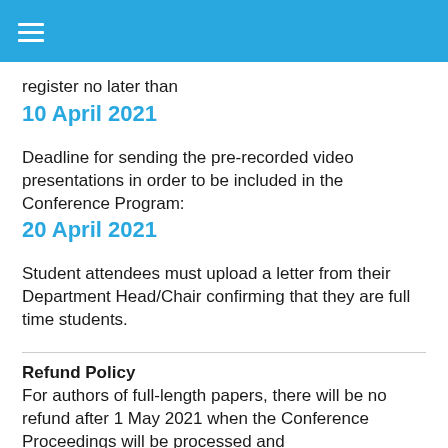☰ (navigation menu)
register no later than
10 April 2021
Deadline for sending the pre-recorded video presentations in order to be included in the Conference Program:
20 April 2021
Student attendees must upload a letter from their Department Head/Chair confirming that they are full time students.
Refund Policy
For authors of full-length papers, there will be no refund after 1 May 2021 when the Conference Proceedings will be processed and